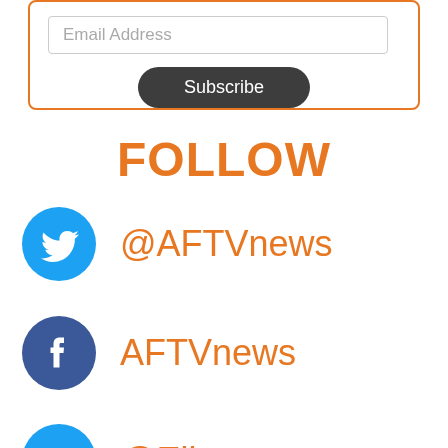[Figure (other): Email subscription box with an email address input field and a dark Subscribe button, bordered in orange]
FOLLOW
[Figure (logo): Twitter blue circle icon with bird logo next to @AFTVnews in orange text]
[Figure (logo): Facebook dark blue circle icon with F logo next to AFTVnews in orange text]
[Figure (logo): Twitter blue circle icon with bird logo next to @Elias in orange text]